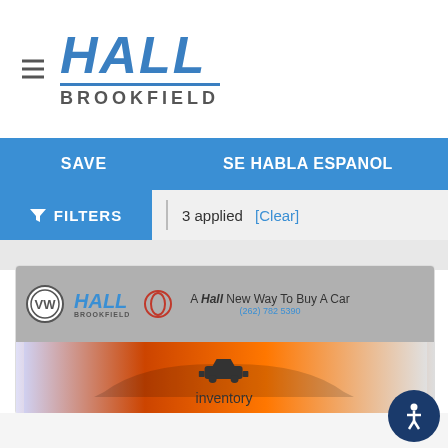[Figure (logo): Hall Brookfield dealership logo with hamburger menu icon]
SAVE
SE HABLA ESPANOL
FILTERS  3 applied [Clear]
[Figure (screenshot): Hall Brookfield dealer banner with Volkswagen, Hall, and Mazda logos, tagline: A Hall New Way To Buy A Car, phone (262) 782 5390, and colorful car image strip below]
[Figure (illustration): Car icon above the word inventory]
inventory
[Figure (illustration): Accessibility icon button (person in circle) in bottom right]